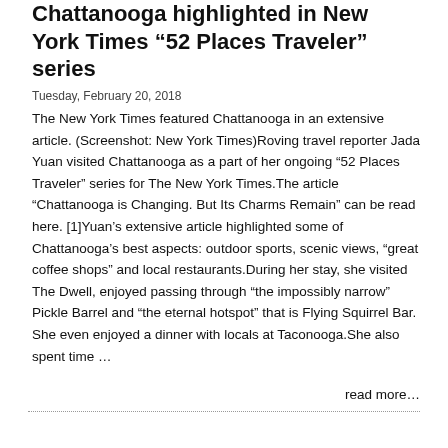Chattanooga highlighted in New York Times “52 Places Traveler” series
Tuesday, February 20, 2018
The New York Times featured Chattanooga in an extensive article. (Screenshot: New York Times)Roving travel reporter Jada Yuan visited Chattanooga as a part of her ongoing “52 Places Traveler” series for The New York Times.The article “Chattanooga is Changing. But Its Charms Remain” can be read here. [1]Yuan’s extensive article highlighted some of Chattanooga’s best aspects: outdoor sports, scenic views, “great coffee shops” and local restaurants.During her stay, she visited The Dwell, enjoyed passing through “the impossibly narrow” Pickle Barrel and “the eternal hotspot” that is Flying Squirrel Bar. She even enjoyed a dinner with locals at Taconooga.She also spent time …
read more…